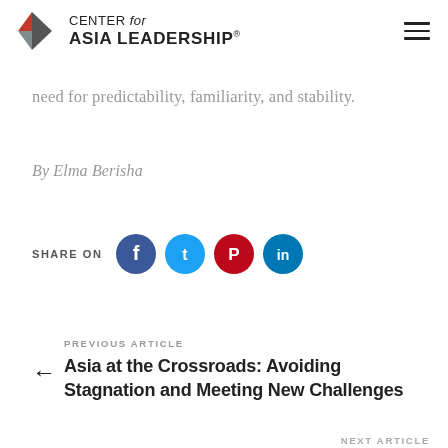CENTER for ASIA LEADERSHIP
need for predictability, familiarity, and stability.
By Elma Berisha
[Figure (infographic): Share on social icons: Facebook, Twitter, Pinterest, LinkedIn buttons with SHARE ON label]
PREVIOUS ARTICLE
Asia at the Crossroads: Avoiding Stagnation and Meeting New Challenges
NEXT ARTICLE